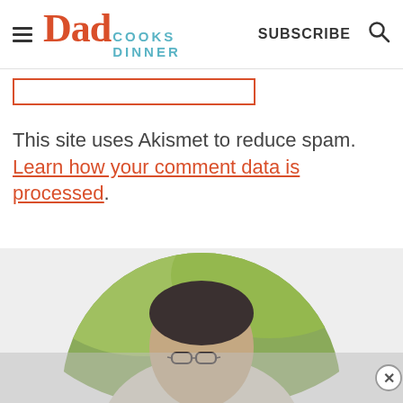Dad Cooks Dinner — SUBSCRIBE
[Figure (other): Input/form field box with red/orange border]
This site uses Akismet to reduce spam. Learn how your comment data is processed.
[Figure (photo): Circular portrait photo of a man with glasses and dark hair, outdoors with green trees in background. Below is a semi-transparent ad overlay with an X close button.]